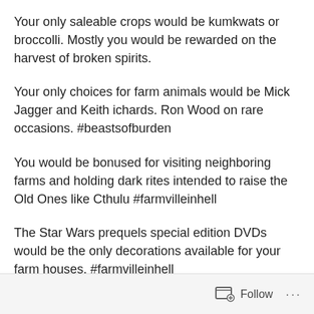Your only saleable crops would be kumkwats or broccolli. Mostly you would be rewarded on the harvest of broken spirits.
Your only choices for farm animals would be Mick Jagger and Keith ichards. Ron Wood on rare occasions. #beastsofburden
You would be bonused for visiting neighboring farms and holding dark rites intended to raise the Old Ones like Cthulu #farmvilleinhell
The Star Wars prequels special edition DVDs would be the only decorations available for your farm houses. #farmvilleinhell
Follow